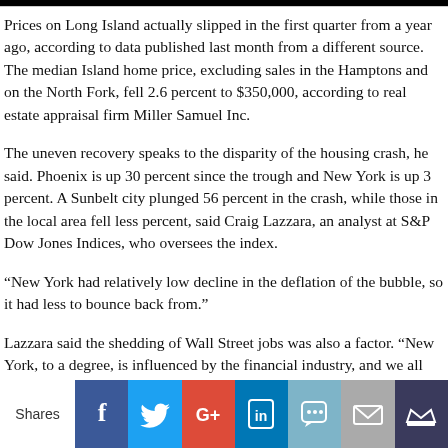Prices on Long Island actually slipped in the first quarter from a year ago, according to data published last month from a different source. The median Island home price, excluding sales in the Hamptons and on the North Fork, fell 2.6 percent to $350,000, according to real estate appraisal firm Miller Samuel Inc.
The uneven recovery speaks to the disparity of the housing crash, he said. Phoenix is up 30 percent since the trough and New York is up 3 percent. A Sunbelt city plunged 56 percent in the crash, while those in the local area fell less percent, said Craig Lazzara, an analyst at S&P Dow Jones Indices, who oversees the index.
“New York had relatively low decline in the deflation of the bubble, so it had less to bounce back from.”
Lazzara said the shedding of Wall Street jobs was also a factor. “New York, to a degree, is influenced by the financial industry, and we all know that industry is contracting,” he said. “When one of the major industries affecting a real estate market is shrinking more than it’s rising, that inevitably is going to affect the real estate.”